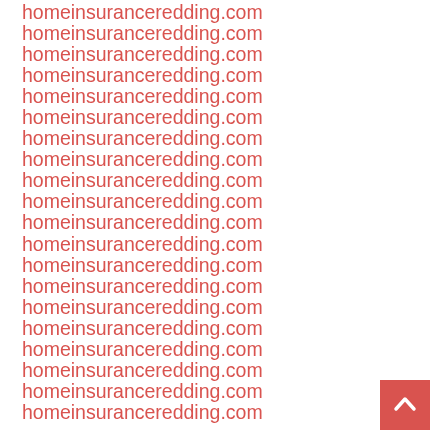homeinsuranceredding.com
homeinsuranceredding.com
homeinsuranceredding.com
homeinsuranceredding.com
homeinsuranceredding.com
homeinsuranceredding.com
homeinsuranceredding.com
homeinsuranceredding.com
homeinsuranceredding.com
homeinsuranceredding.com
homeinsuranceredding.com
homeinsuranceredding.com
homeinsuranceredding.com
homeinsuranceredding.com
homeinsuranceredding.com
homeinsuranceredding.com
homeinsuranceredding.com
homeinsuranceredding.com
homeinsuranceredding.com
homeinsuranceredding.com
[Figure (other): Back to top button - red square with white upward chevron arrow]